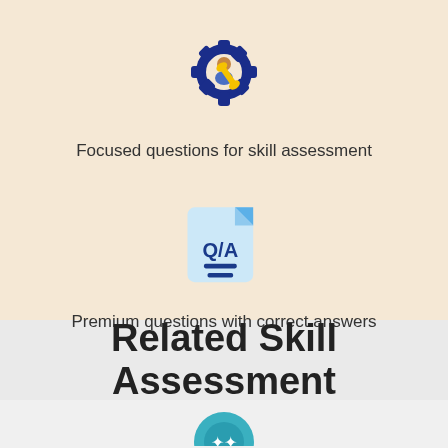[Figure (illustration): Gear icon with a person/technician figure and a wrench, colored in dark blue and yellow]
Focused questions for skill assessment
[Figure (illustration): Q/A document icon with light blue background, dark blue text Q/A and two horizontal lines below]
Premium questions with correct answers
Related Skill Assessment
[Figure (illustration): Teal/blue circular icon partially visible at bottom]